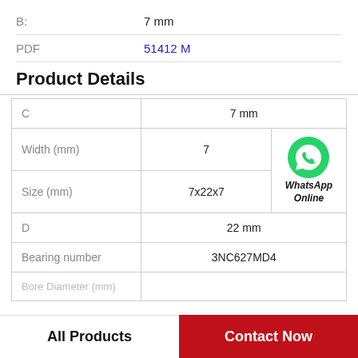B:    7 mm
PDF    51412 M
Product Details
|  |  |
| --- | --- |
| C | 7 mm |
| Width (mm) | 7 |
| Size (mm) | 7x22x7 |
| D | 22 mm |
| Bearing number | 3NC627MD4 |
| Bore Diameter (mm) |  |
WhatsApp Online
All Products
Contact Now